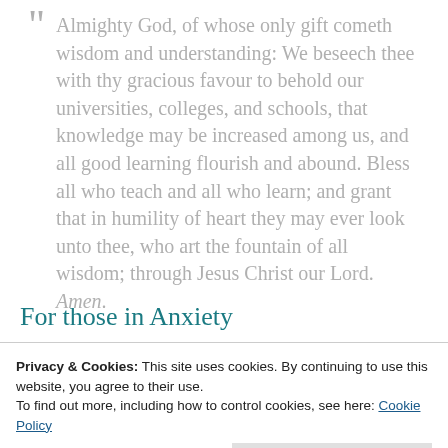Almighty God, of whose only gift cometh wisdom and understanding: We beseech thee with thy gracious favour to behold our universities, colleges, and schools, that knowledge may be increased among us, and all good learning flourish and abound. Bless all who teach and all who learn; and grant that in humility of heart they may ever look unto thee, who art the fountain of all wisdom; through Jesus Christ our Lord. Amen.
For those in Anxiety
Privacy & Cookies: This site uses cookies. By continuing to use this website, you agree to their use. To find out more, including how to control cookies, see here: Cookie Policy
manifold needs; and help both them and us to put our whole trust and confidence in thee;